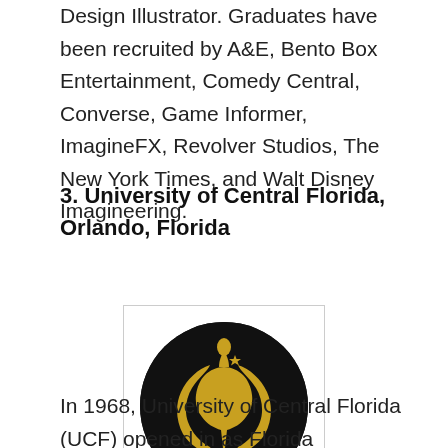Design Illustrator. Graduates have been recruited by A&E, Bento Box Entertainment, Comedy Central, Converse, Game Informer, ImagineFX, Revolver Studios, The New York Times, and Walt Disney Imagineering.
3. University of Central Florida, Orlando, Florida
[Figure (logo): University of Central Florida logo: gold Pegasus on black circle inside a square border]
In 1968, University of Central Florida (UCF) opened in as Florida Technological University with less than